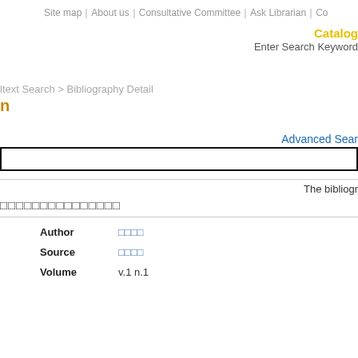Site map｜About us｜Consultative Committee｜Ask Librarian｜Co
Catalog
Enter Search Keyword
ltext Search > Bibliography Detail
n
Advanced Sear
The bibliogr
□□□□□□□□□□□□□□□
| Field | Value |
| --- | --- |
| Author | □□□□ |
| Source | □□□□ |
| Volume | v.1 n.1 |